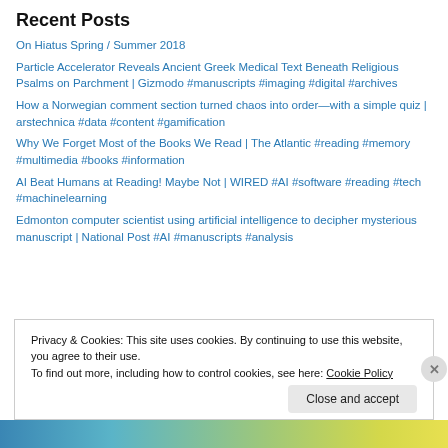Recent Posts
On Hiatus Spring / Summer 2018
Particle Accelerator Reveals Ancient Greek Medical Text Beneath Religious Psalms on Parchment | Gizmodo #manuscripts #imaging #digital #archives
How a Norwegian comment section turned chaos into order—with a simple quiz | arstechnica #data #content #gamification
Why We Forget Most of the Books We Read | The Atlantic #reading #memory #multimedia #books #information
AI Beat Humans at Reading! Maybe Not | WIRED #AI #software #reading #tech #machinelearning
Edmonton computer scientist using artificial intelligence to decipher mysterious manuscript | National Post #AI #manuscripts #analysis
Privacy & Cookies: This site uses cookies. By continuing to use this website, you agree to their use.
To find out more, including how to control cookies, see here: Cookie Policy
Close and accept